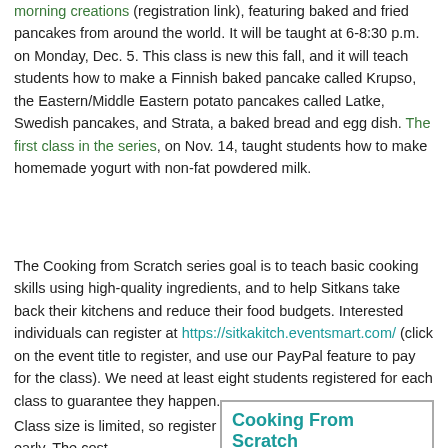morning creations (registration link), featuring baked and fried pancakes from around the world. It will be taught at 6-8:30 p.m. on Monday, Dec. 5. This class is new this fall, and it will teach students how to make a Finnish baked pancake called Krupso, the Eastern/Middle Eastern potato pancakes called Latke, Swedish pancakes, and Strata, a baked bread and egg dish. The first class in the series, on Nov. 14, taught students how to make homemade yogurt with non-fat powdered milk.
The Cooking from Scratch series goal is to teach basic cooking skills using high-quality ingredients, and to help Sitkans take back their kitchens and reduce their food budgets. Interested individuals can register at https://sitkakitch.eventsmart.com/ (click on the event title to register, and use our PayPal feature to pay for the class). We need at least eight students registered for each class to guarantee they happen.
Class size is limited, so register early. The cost
[Figure (other): Cooking From Scratch sidebar box with teal bold title text]